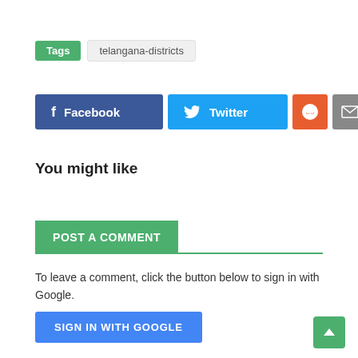Tags   telangana-districts
[Figure (other): Social sharing buttons: Facebook, Twitter, Reddit, Email, More]
You might like
POST A COMMENT
To leave a comment, click the button below to sign in with Google.
SIGN IN WITH GOOGLE